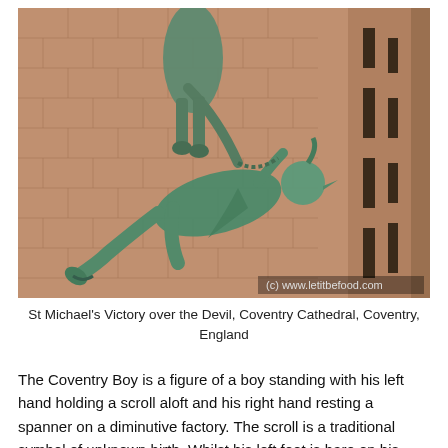[Figure (photo): Bronze sculpture of St Michael's Victory over the Devil mounted on the exterior wall of Coventry Cathedral. The lower figure (the Devil) is a horned, winged figure lying on its back in chains, while the upper figure (St Michael) stands triumphant above. The background is red sandstone brick wall. Watermark reads: (c) www.letitbefood.com]
St Michael's Victory over the Devil, Coventry Cathedral, Coventry, England
The Coventry Boy is a figure of a boy standing with his left hand holding a scroll aloft and his right hand resting a spanner on a diminutive factory. The scroll is a traditional symbol of unknown birth. Whilst his left foot is bare on his right foot is a shoe, whilst one